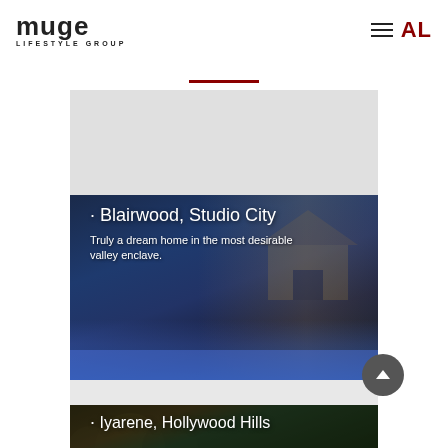muse LIFESTYLE GROUP | AL
[Figure (photo): Night-time photo of modern luxury home with illuminated pool in Studio City]
· Blairwood, Studio City
Truly a dream home in the most desirable valley enclave.
[Figure (photo): Night-time photo of Hollywood Hills property partially visible]
· Iyarene, Hollywood Hills